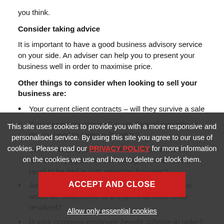you think.
Consider taking advice
It is important to have a good business advisory service on your side. An adviser can help you to present your business well in order to maximise price.
Other things to consider when looking to sell your business are:
Your current client contracts – will they survive a sale
If your company owns all its intellectual property or do you need to register IP rights?
Do your employees know about the potential sale and do employees who are integral to the business need to be tied in with retention bonuses?
Are there any difficult property arrangements that would be unattractive to a buyer that need to be resolved?
Is your company employee benefit scheme in order?
Is the company's IT infrastructure and security handled internally or externally?
Consider your timing – if your business is seasonal there may be a better time of year to be looking for a buyer
This site uses cookies to provide you with a more responsive and personalised service. By using this site you agree to our use of cookies. Please read our PRIVACY POLICY for more information on the cookies we use and how to delete or block them.
ACCEPT AND CLOSE
Allow only essential cookies